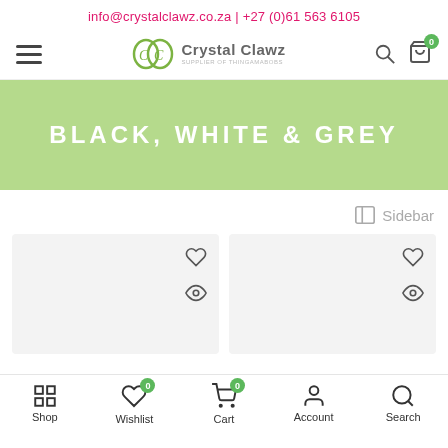info@crystalclawz.co.za | +27 (0)61 563 6105
[Figure (logo): Crystal Clawz logo with stylized CC monogram and brand name]
BLACK, WHITE & GREY
Sidebar
[Figure (screenshot): Two product cards with heart (wishlist) and eye (quick view) icons on grey backgrounds]
Shop | Wishlist 0 | Cart 0 | Account | Search